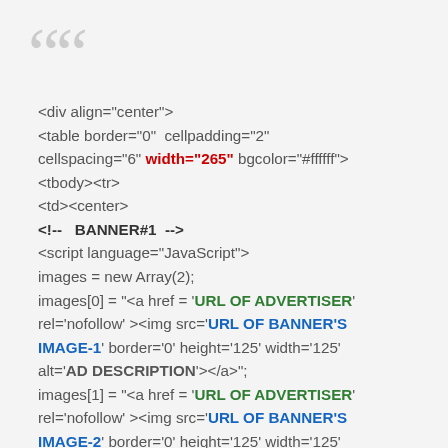❝
<div align="center">
<table border="0"  cellpadding="2"
cellspacing="6" width="265" bgcolor="#ffffff">
<tbody><tr>
<td><center>
<!--   BANNER#1  -->
<script language="JavaScript">
images = new Array(2);
images[0] = "<a href = 'URL OF ADVERTISER'
rel='nofollow' ><img src='URL OF BANNER'S
IMAGE-1' border='0' height='125' width='125'
alt='AD DESCRIPTION'></a>";
images[1] = "<a href = 'URL OF ADVERTISER'
rel='nofollow' ><img src='URL OF BANNER'S
IMAGE-2' border='0' height='125' width='125'
alt='AD DESCRIPTION'></a>";